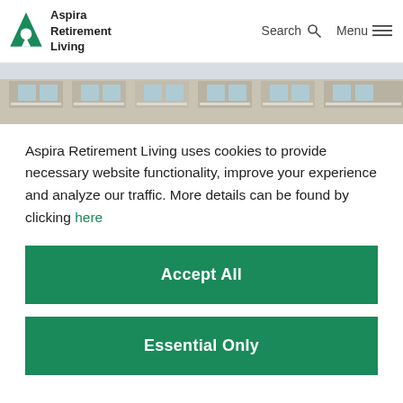[Figure (logo): Aspira Retirement Living logo — green triangle A with circle, beside text 'Aspira Retirement Living']
[Figure (photo): Partial exterior photo of a multi-storey retirement building with balconies, cropped to a narrow strip]
Aspira Retirement Living uses cookies to provide necessary website functionality, improve your experience and analyze our traffic. More details can be found by clicking here
Accept All
Essential Only